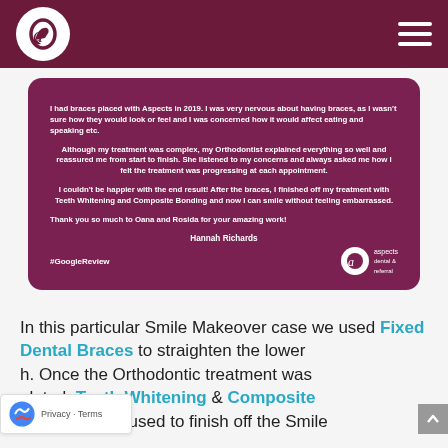Aspects Dental & Referral — navigation header
[Figure (screenshot): Review card with dark maroon/purple background containing patient testimonial text from Hannah Richards, #GoogleReview hashtag, and Aspects Dental & Referral logo]
In this particular Smile Makeover case we used Fixed Dental Braces to straighten the lower [teeth]. Once the Orthodontic treatment was [com]pleted, Teeth Whitening & Composite Bonding was used to finish off the Smile